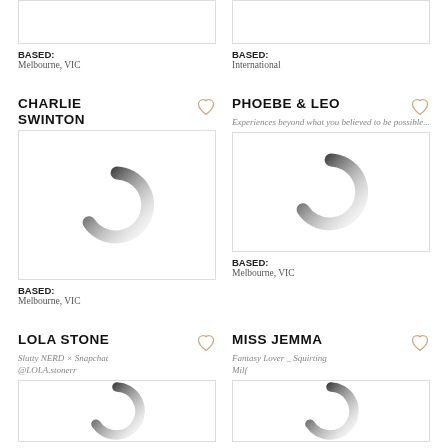[Figure (other): Top partial image card - left column (cropped)]
BASED: Melbourne, VIC
[Figure (other): Top partial image card - right column (cropped)]
BASED: International
CHARLIE SWINTON
PHOEBE & LEO
Experiences beyond what you believed to be possible...
[Figure (other): Loading spinner image for Charlie Swinton]
[Figure (other): Loading spinner image for Phoebe & Leo]
BASED: Melbourne, VIC
BASED: Melbourne, VIC
LOLA STONE
Slutty NERD × Snapchat @LOLA.stonerr
MISS JEMMA
Fantasy Lover _ Squirting Milf
[Figure (other): Partial loading spinner image for Lola Stone (cropped bottom)]
[Figure (other): Partial loading spinner image for Miss Jemma (cropped bottom)]